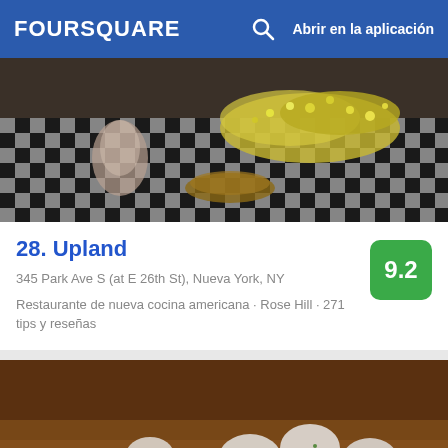FOURSQUARE  Abrir en la aplicación
[Figure (photo): Restaurant table with black and white checkered tablecloth and yellow wildflowers in a vase]
28. Upland
345 Park Ave S (at E 26th St), Nueva York, NY
Restaurante de nueva cocina americana · Rose Hill · 271 tips y reseñas
[Figure (photo): Close-up photo of seafood paella with mussels, shrimp, scallops, edamame beans, and red peppers]